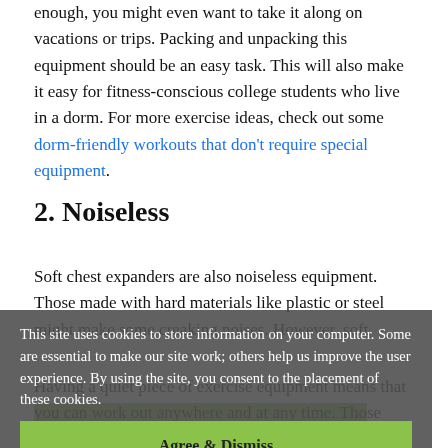enough, you might even want to take it along on vacations or trips. Packing and unpacking this equipment should be an easy task. This will also make it easy for fitness-conscious college students who live in a dorm. For more exercise ideas, check out some dorm-friendly workouts that don't require special equipment.
2. Noiseless
Soft chest expanders are also noiseless equipment. Those made with hard materials like plastic or steel might make some creaking noises. However, soft
This site uses cookies to store information on your computer. Some are essential to make our site work; others help us improve the user experience. By using the site, you consent to the placement of these cookies.
Agree & Dismiss
Having a quiet piece of exercise equipment means that you can work out anywhere and at any time. Those who have to work through the day might not find time to